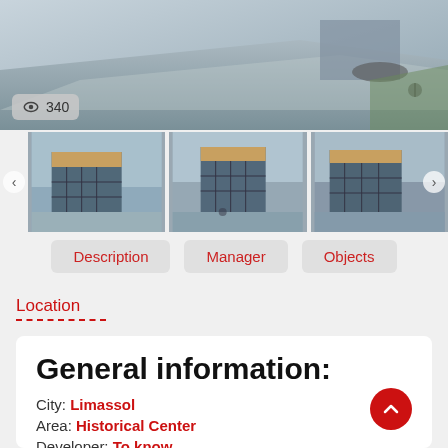[Figure (photo): Aerial/elevated view of a modern building with a road and a cyclist on green grass, shown as a large hero image at the top of the page]
👁 340
[Figure (photo): Three thumbnail images of a modern multi-storey commercial building with dark glass facades and wood-panelled top floors, shown from slightly different angles]
Description
Manager
Objects
Location
General information:
City: Limassol
Area: Historical Center
Developer: To know